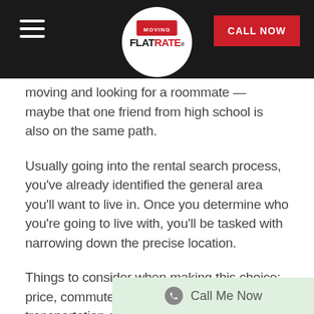FLATRATE MOVING — CALL NOW
moving and looking for a roommate — maybe that one friend from high school is also on the same path.
Usually going into the rental search process, you've already identified the general area you'll want to live in. Once you determine who you're going to live with, you'll be tasked with narrowing down the precise location.
Things to consider when making this choice: price, commute time to work, public transportation options, community, and the nightlife (or lack thereof, if you're not into it).
[Figure (other): Call Me Now button bar with phone icon on light green background]